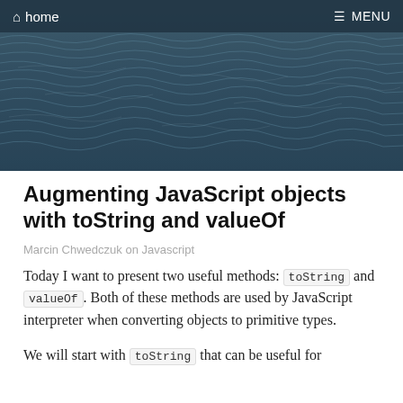home   MENU
[Figure (photo): Ocean water surface with blue-grey waves, hero banner image]
Augmenting JavaScript objects with toString and valueOf
Marcin Chwedczuk on Javascript
Today I want to present two useful methods: toString and valueOf. Both of these methods are used by JavaScript interpreter when converting objects to primitive types.
We will start with toString that can be useful for